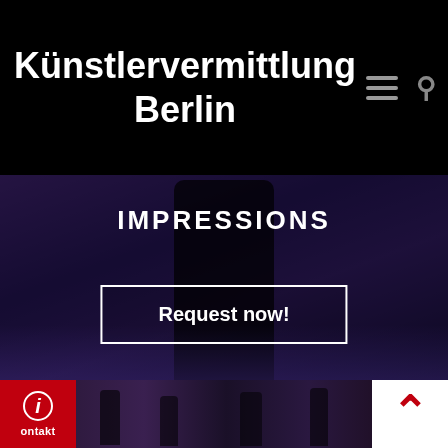Künstlervermittlung Berlin
[Figure (screenshot): Website screenshot showing 'Künstlervermittlung Berlin' header with hamburger menu and search icon on black background, hero section with dark stage/performance background showing 'IMPRESSIONS' heading and 'Request now!' button, and a bottom thumbnail gallery strip with info/kontakt button and back-to-top chevron button]
IMPRESSIONS
Request now!
Kontakt